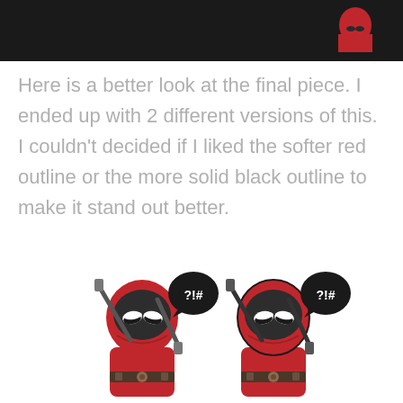[Figure (photo): Partial top image showing a dark banner with a small red cartoon Deadpool figure visible in the upper right corner.]
Here is a better look at the final piece. I ended up with 2 different versions of this. I couldn't decided if I liked the softer red outline or the more solid black outline to make it stand out better.
[Figure (illustration): Two side-by-side cute chibi-style cartoon Deadpool characters, each holding swords crossed behind their back, with a speech bubble showing '?!#'. The left figure has a softer red outline and the right figure has a more solid black outline.]